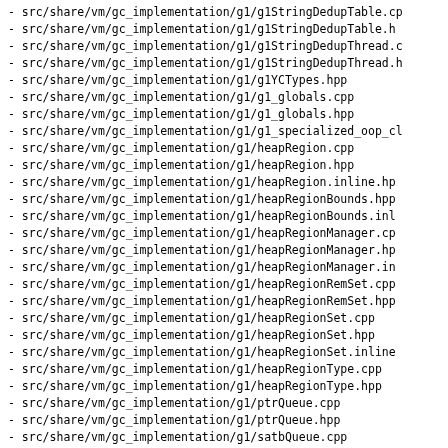- src/share/vm/gc_implementation/g1/g1StringDedupTable.cp
- src/share/vm/gc_implementation/g1/g1StringDedupTable.h
- src/share/vm/gc_implementation/g1/g1StringDedupThread.c
- src/share/vm/gc_implementation/g1/g1StringDedupThread.h
- src/share/vm/gc_implementation/g1/g1YCTypes.hpp
- src/share/vm/gc_implementation/g1/g1_globals.cpp
- src/share/vm/gc_implementation/g1/g1_globals.hpp
- src/share/vm/gc_implementation/g1/g1_specialized_oop_cl
- src/share/vm/gc_implementation/g1/heapRegion.cpp
- src/share/vm/gc_implementation/g1/heapRegion.hpp
- src/share/vm/gc_implementation/g1/heapRegion.inline.hp
- src/share/vm/gc_implementation/g1/heapRegionBounds.hpp
- src/share/vm/gc_implementation/g1/heapRegionBounds.inl
- src/share/vm/gc_implementation/g1/heapRegionManager.cp
- src/share/vm/gc_implementation/g1/heapRegionManager.hp
- src/share/vm/gc_implementation/g1/heapRegionManager.in
- src/share/vm/gc_implementation/g1/heapRegionRemSet.cpp
- src/share/vm/gc_implementation/g1/heapRegionRemSet.hpp
- src/share/vm/gc_implementation/g1/heapRegionSet.cpp
- src/share/vm/gc_implementation/g1/heapRegionSet.hpp
- src/share/vm/gc_implementation/g1/heapRegionSet.inline
- src/share/vm/gc_implementation/g1/heapRegionType.cpp
- src/share/vm/gc_implementation/g1/heapRegionType.hpp
- src/share/vm/gc_implementation/g1/ptrQueue.cpp
- src/share/vm/gc_implementation/g1/ptrQueue.hpp
- src/share/vm/gc_implementation/g1/satbQueue.cpp
- src/share/vm/gc_implementation/g1/satbQueue.hpp
- src/share/vm/gc_implementation/g1/sparsePRT.cpp
- src/share/vm/gc_implementation/g1/sparsePRT.hpp
- src/share/vm/gc_implementation/g1/survRateGroup.cpp